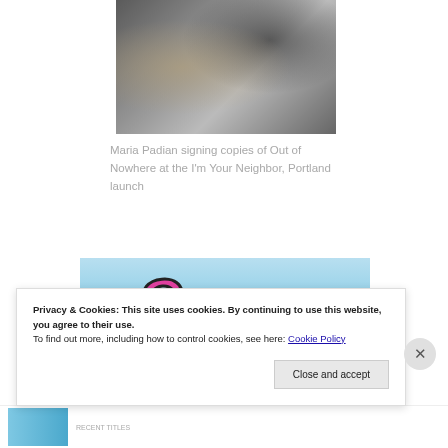[Figure (photo): Photo of Maria Padian signing copies of a book at a table with people around her]
Maria Padian signing copies of Out of Nowhere at the I'm Your Neighbor, Portland launch
[Figure (illustration): Illustrated cover or graphic with a large pink letter G on a light blue background with a yellow sparkle and a curved swoosh at the bottom]
Privacy & Cookies: This site uses cookies. By continuing to use this website, you agree to their use.
To find out more, including how to control cookies, see here: Cookie Policy
Close and accept